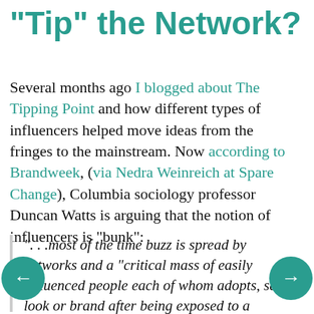"Tip" the Network?
Several months ago I blogged about The Tipping Point and how different types of influencers helped move ideas from the fringes to the mainstream. Now according to Brandweek, (via Nedra Weinreich at Spare Change), Columbia sociology professor Duncan Watts is arguing that the notion of influencers is "bunk":
". . .most of the time buzz is spread by networks and a "critical mass of easily influenced people each of whom adopts, say, a look or brand after being exposed to a